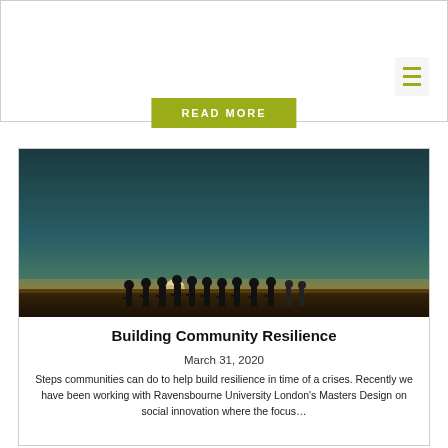[Figure (screenshot): Top navigation bar area with border, READ MORE button in olive/yellow-green color, and hamburger menu icon on the right]
[Figure (photo): Sunset photo showing silhouettes of a group of people standing on a beach with a bright sun on the horizon and a teal/dark sky]
Building Community Resilience
March 31, 2020
Steps communities can do to help build resilience in time of a crises. Recently we have been working with Ravensbourne University London's Masters Design on social innovation where the focus…